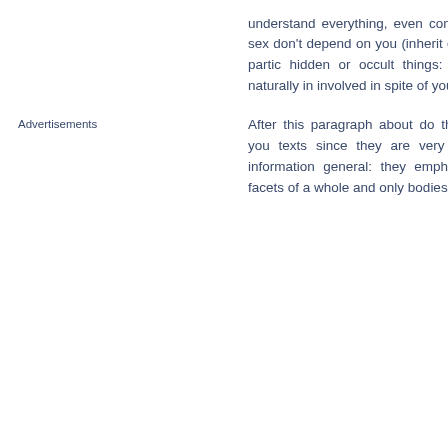understand everything, even complex spheres such as sex don't depend on you (inherit death too - not yours in particular hidden or occult things: her because you are naturally in involved in spite of yourself.
After this paragraph about do the character traits that you texts since they are very spe give background information general: they emphasize particularities or facets of a whole and only bodies of tex the finer points.
Advertisements